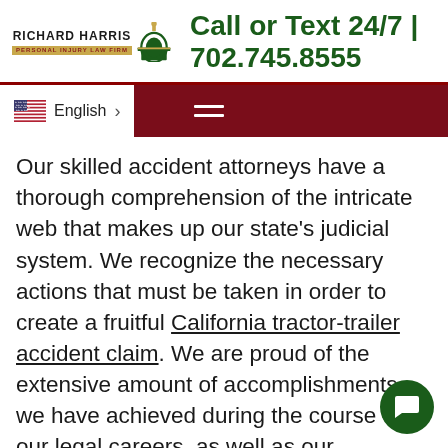[Figure (logo): Richard Harris Personal Injury Law Firm logo with dome icon and call to action: Call or Text 24/7 | 702.745.8555]
[Figure (screenshot): Navigation bar with English language selector (US flag), arrow, and hamburger menu icon on dark red background]
Our skilled accident attorneys have a thorough comprehension of the intricate web that makes up our state's judicial system. We recognize the necessary actions that must be taken in order to create a fruitful California tractor-trailer accident claim. We are proud of the extensive amount of accomplishments we have achieved during the course of our legal careers, as well as our distinguished hard-earned reputations.